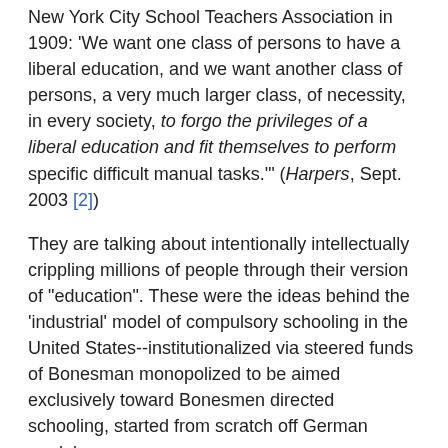New York City School Teachers Association in 1909: 'We want one class of persons to have a liberal education, and we want another class of persons, a very much larger class, of necessity, in every society, to forgo the privileges of a liberal education and fit themselves to perform specific difficult manual tasks.'" (Harpers, Sept. 2003 [2])
They are talking about intentionally intellectually crippling millions of people through their version of "education". These were the ideas behind the 'industrial' model of compulsory schooling in the United States--institutionalized via steered funds of Bonesman monopolized to be aimed exclusively toward Bonesmen directed schooling, started from scratch off German models.
As an introduction to Gatto's research, these German-strategic ideas were imported into the United States educational programme as undemocratic principles by a handful of very reactionary rich elites mostly the massive amounts of monies generated in the families of ownership around coal and oil wealth. Their plans started via creating a few select land grant universities and private universities